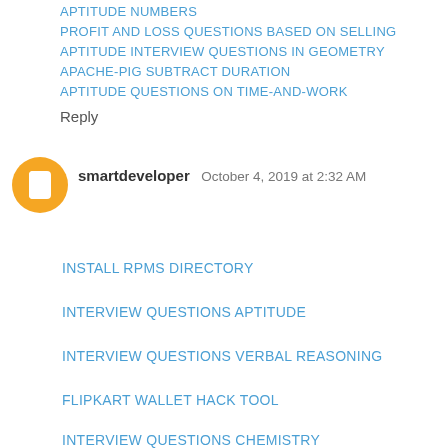APTITUDE NUMBERS
PROFIT AND LOSS QUESTIONS BASED ON SELLING
APTITUDE INTERVIEW QUESTIONS IN GEOMETRY
APACHE-PIG SUBTRACT DURATION
APTITUDE QUESTIONS ON TIME-AND-WORK
Reply
[Figure (illustration): Orange circular avatar icon with blogger 'B' logo]
smartdeveloper  October 4, 2019 at 2:32 AM
INSTALL RPMS DIRECTORY
INTERVIEW QUESTIONS APTITUDE
INTERVIEW QUESTIONS VERBAL REASONING
FLIPKART WALLET HACK TOOL
INTERVIEW QUESTIONS CHEMISTRY